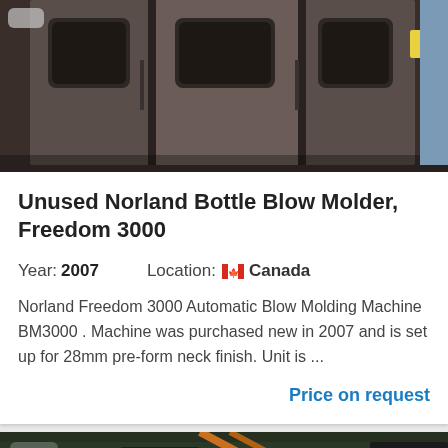[Figure (photo): Industrial bottle blow molder machine — large brown/grey metal cabinet with windows, viewed head-on in a factory setting]
Unused Norland Bottle Blow Molder, Freedom 3000
Year: 2007    Location: Canada
Norland Freedom 3000 Automatic Blow Molding Machine BM3000 . Machine was purchased new in 2007 and is set up for 28mm pre-form neck finish. Unit is ...
Price on request
[Figure (photo): Partial view of industrial machinery in a factory, showing yellow and dark metal components with pipes/cables]